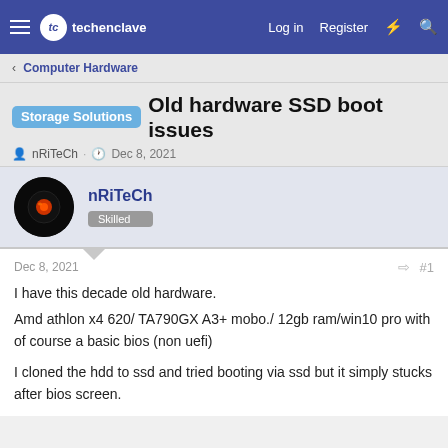techenclave — Log in  Register
< Computer Hardware
Storage Solutions  Old hardware SSD boot issues
nRiTeCh · Dec 8, 2021
nRiTeCh
Skilled
Dec 8, 2021  #1
I have this decade old hardware.
Amd athlon x4 620/ TA790GX A3+ mobo./ 12gb ram/win10 pro with of course a basic bios (non uefi)

I cloned the hdd to ssd and tried booting via ssd but it simply stucks after bios screen.